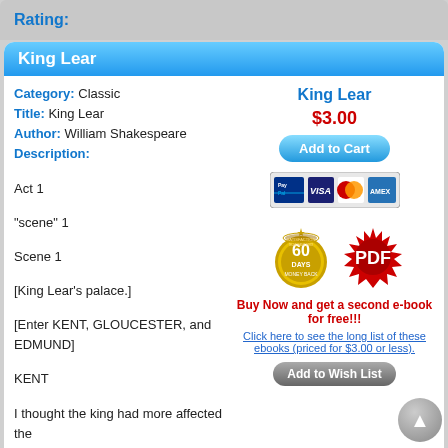Rating:
King Lear
Category: Classic
Title: King Lear
Author: William Shakespeare
Description:
King Lear
$3.00
Add to Cart
[Figure (other): PayPal, VISA, MasterCard, AMEX payment icons]
Act 1
"scene" 1
Scene 1
[King Lear's palace.]
[Enter KENT, GLOUCESTER, and EDMUND]
KENT
I thought the king had more affected the
[Figure (other): 60 Days Money Back guarantee badge and PDF badge]
Buy Now and get a second e-book for free!!!
Click here to see the long list of these ebooks (priced for $3.00 or less).
Add to Wish List